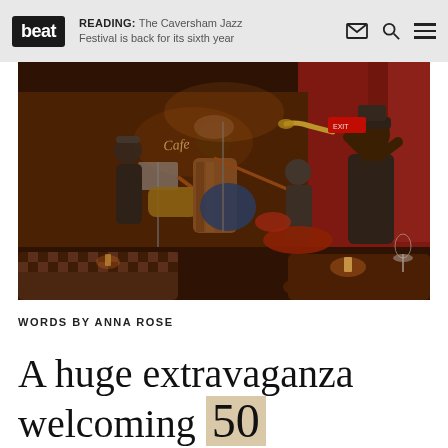beat | READING: The Caversham Jazz Festival is back for its sixth year
[Figure (photo): Jazz band performing in a warmly lit bar/restaurant venue with red walls. Multiple musicians visible: a guitarist centre-stage, a trumpet player on the right, a bassist on the left, a drummer in the background. Tables with candles in the foreground.]
WORDS BY ANNA ROSE
A huge extravaganza welcoming 50 bands over four days